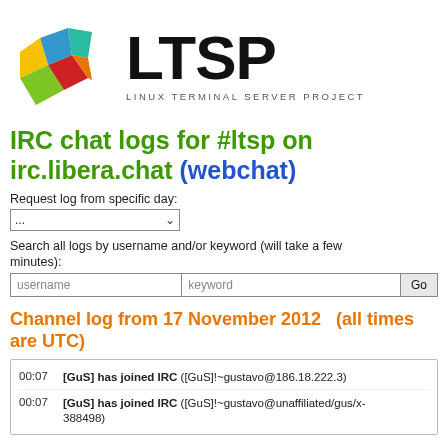[Figure (logo): LTSP Linux Terminal Server Project logo with colorful geometric shapes and text]
IRC chat logs for #ltsp on irc.libera.chat (webchat)
Request log from specific day:
Search all logs by username and/or keyword (will take a few minutes):
Channel log from 17 November 2012   (all times are UTC)
00:07   [GuS] has joined IRC ([GuS]!~gustavo@186.18.222.3)
00:07   [GuS] has joined IRC ([GuS]!~gustavo@unaffiliated/gus/x-388498)